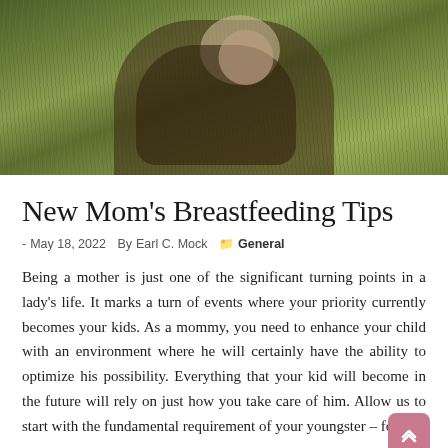[Figure (photo): A mother sitting in a green field with wildflowers, holding and nursing a baby. Outdoor nature setting with tall grass and white flowers in the background.]
New Mom's Breastfeeding Tips
- May 18, 2022  By Earl C. Mock  General
Being a mother is just one of the significant turning points in a lady's life. It marks a turn of events where your priority currently becomes your kids. As a mommy, you need to enhance your child with an environment where he will certainly have the ability to optimize his possibility. Everything that your kid will become in the future will rely on just how you take care of him. Allow us to start with the fundamental requirement of your youngster – food.
Breastfeeding is one of the finest things that you can